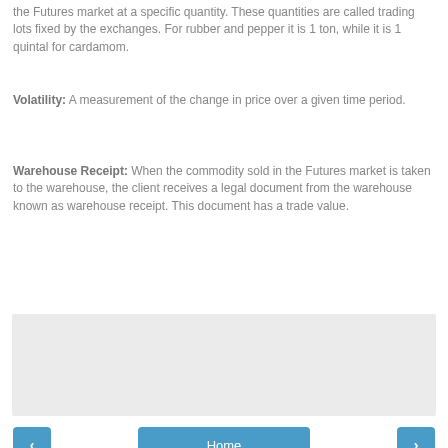the Futures market at a specific quantity. These quantities are called trading lots fixed by the exchanges. For rubber and pepper it is 1 ton, while it is 1 quintal for cardamom.
Volatility: A measurement of the change in price over a given time period.
Warehouse Receipt: When the commodity sold in the Futures market is taken to the warehouse, the client receives a legal document from the warehouse known as warehouse receipt. This document has a trade value.
[Figure (other): Gray advertisement/placeholder box]
Home | View web version | Powered by Blogger.